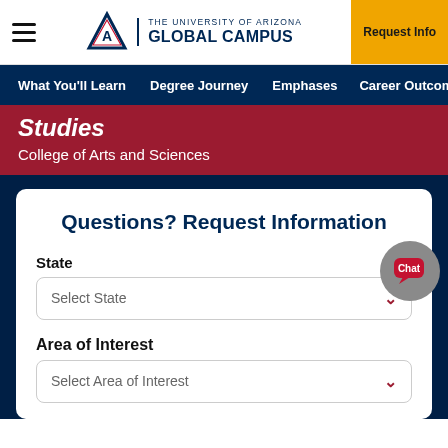THE UNIVERSITY OF ARIZONA GLOBAL CAMPUS | Request Info
What You'll Learn | Degree Journey | Emphases | Career Outcomes | Fa...
Studies
College of Arts and Sciences
Questions? Request Information
State
Select State
Area of Interest
Select Area of Interest